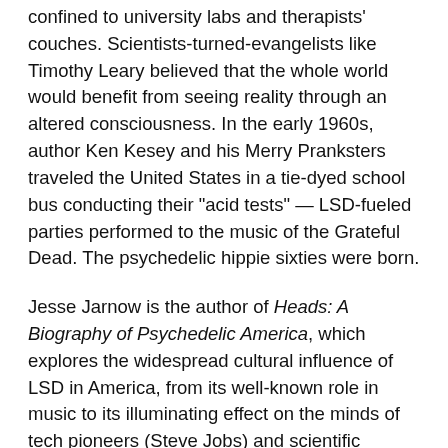confined to university labs and therapists' couches. Scientists-turned-evangelists like Timothy Leary believed that the whole world would benefit from seeing reality through an altered consciousness. In the early 1960s, author Ken Kesey and his Merry Pranksters traveled the United States in a tie-dyed school bus conducting their "acid tests" — LSD-fueled parties performed to the music of the Grateful Dead. The psychedelic hippie sixties were born.
Jesse Jarnow is the author of Heads: A Biography of Psychedelic America, which explores the widespread cultural influence of LSD in America, from its well-known role in music to its illuminating effect on the minds of tech pioneers (Steve Jobs) and scientific heavyweights (Kary Mullis, a Nobel prize-winning chemist). Once LSD was associated with the anarchy of the hippies, though, it sacrificed some of its scientific legitimacy.